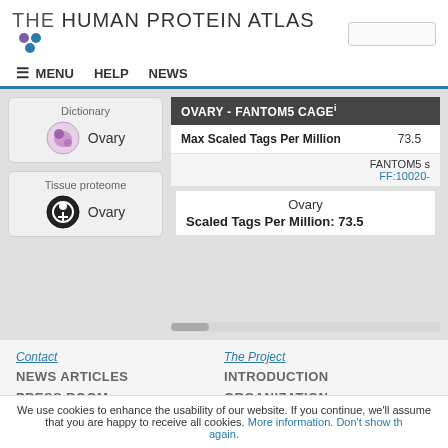THE HUMAN PROTEIN ATLAS
≡ MENU   HELP   NEWS
[Figure (screenshot): Dictionary card with Ovary icon (purple ovary illustration) labeled 'Ovary']
[Figure (screenshot): Tissue proteome card with Ovary icon (black circular biology symbol) labeled 'Ovary']
OVARY - FANTOM5 CAGE
| Field | Value |
| --- | --- |
| Max Scaled Tags Per Million | 73.5 |
FANTOM5 s
FF:10020-
Ovary
Scaled Tags Per Million: 73.5
Contact
NEWS ARTICLES
PRESS ROOM
The Project
INTRODUCTION
ORGANIZATION
PUBLICATIONS
DOWNLOADABLE DATA
[Figure (screenshot): Social media icons: Facebook, Twitter, Instagram, LinkedIn, RSS]
We use cookies to enhance the usability of our website. If you continue, we'll assume that you are happy to receive all cookies. More information. Don't show this again.